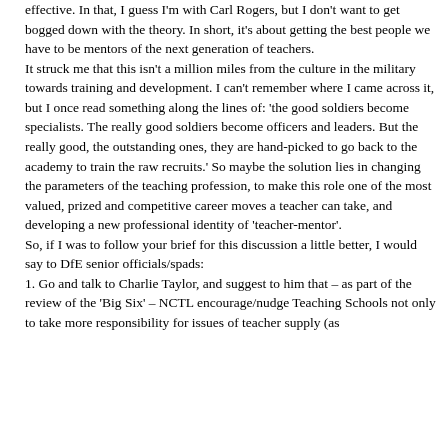effective. In that, I guess I'm with Carl Rogers, but I don't want to get bogged down with the theory. In short, it's about getting the best people we have to be mentors of the next generation of teachers. It struck me that this isn't a million miles from the culture in the military towards training and development. I can't remember where I came across it, but I once read something along the lines of: 'the good soldiers become specialists. The really good soldiers become officers and leaders. But the really good, the outstanding ones, they are hand-picked to go back to the academy to train the raw recruits.' So maybe the solution lies in changing the parameters of the teaching profession, to make this role one of the most valued, prized and competitive career moves a teacher can take, and developing a new professional identity of 'teacher-mentor'. So, if I was to follow your brief for this discussion a little better, I would say to DfE senior officials/spads: 1. Go and talk to Charlie Taylor, and suggest to him that – as part of the review of the 'Big Six' – NCTL encourage/nudge Teaching Schools not only to take more responsibility for issues of teacher supply (as